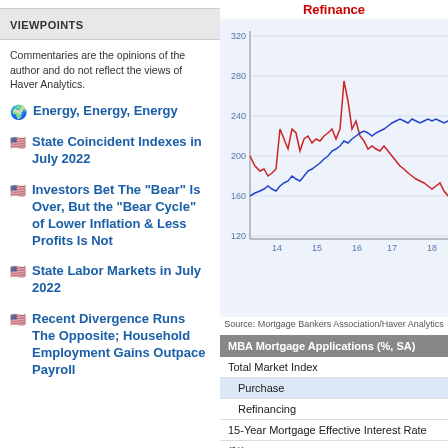VIEWPOINTS
Commentaries are the opinions of the author and do not reflect the views of Haver Analytics.
Energy, Energy, Energy
State Coincident Indexes in July 2022
Investors Bet The "Bear" Is Over, But the "Bear Cycle" of Lower Inflation & Less Profits Is Not
State Labor Markets in July 2022
Recent Divergence Runs The Opposite; Household Employment Gains Outpace Payroll
Refinance
[Figure (line-chart): Two-line time series chart showing Refinance index (red) and Purchase index (blue) from years 14 to 18, with values ranging approximately 120 to 320.]
Source: Mortgage Bankers Association/Haver Analytics
| MBA Mortgage Applications (%, SA) |
| --- |
| Total Market Index |
| Purchase |
| Refinancing |
| 15-Year Mortgage Effective Interest Rate |
| (%) |